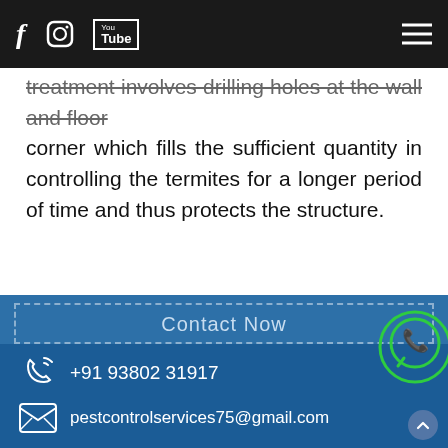Navigation bar with social media icons (Facebook, Instagram, YouTube) and hamburger menu
treatment involves drilling holes at the wall and floor corner which fills the sufficient quantity in controlling the termites for a longer period of time and thus protects the structure.
Contact Now
+91 93802 31917
pestcontrolservices75@gmail.com